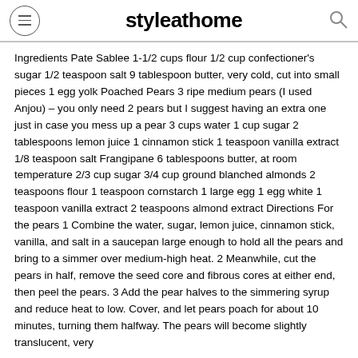styleathome
Ingredients Pate Sablee 1-1/2 cups flour 1/2 cup confectioner's sugar 1/2 teaspoon salt 9 tablespoon butter, very cold, cut into small pieces 1 egg yolk Poached Pears 3 ripe medium pears (I used Anjou) – you only need 2 pears but I suggest having an extra one just in case you mess up a pear 3 cups water 1 cup sugar 2 tablespoons lemon juice 1 cinnamon stick 1 teaspoon vanilla extract 1/8 teaspoon salt Frangipane 6 tablespoons butter, at room temperature 2/3 cup sugar 3/4 cup ground blanched almonds 2 teaspoons flour 1 teaspoon cornstarch 1 large egg 1 egg white 1 teaspoon vanilla extract 2 teaspoons almond extract Directions For the pears 1 Combine the water, sugar, lemon juice, cinnamon stick, vanilla, and salt in a saucepan large enough to hold all the pears and bring to a simmer over medium-high heat. 2 Meanwhile, cut the pears in half, remove the seed core and fibrous cores at either end, then peel the pears. 3 Add the pear halves to the simmering syrup and reduce heat to low. Cover, and let pears poach for about 10 minutes, turning them halfway. The pears will become slightly translucent, very